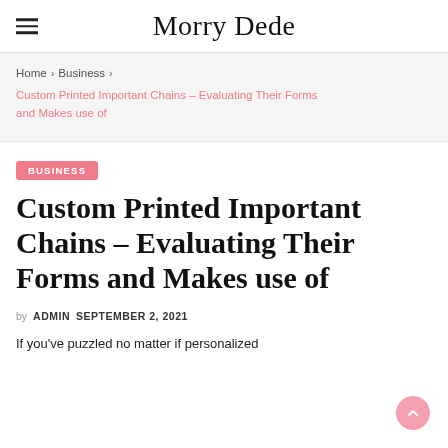Morry Dede
Home > Business > Custom Printed Important Chains – Evaluating Their Forms and Makes use of
BUSINESS
Custom Printed Important Chains – Evaluating Their Forms and Makes use of
by ADMIN   SEPTEMBER 2, 2021
If you've puzzled no matter if personalized